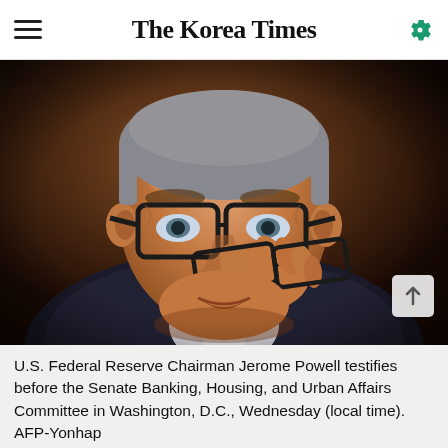The Korea Times
[Figure (photo): Close-up photo of U.S. Federal Reserve Chairman Jerome Powell adjusting his glasses at a Senate hearing. He is wearing a dark suit and white shirt, looking intently forward.]
U.S. Federal Reserve Chairman Jerome Powell testifies before the Senate Banking, Housing, and Urban Affairs Committee in Washington, D.C., Wednesday (local time). AFP-Yonhap